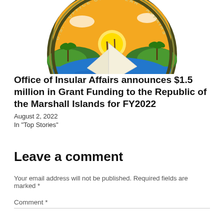[Figure (logo): Circular seal of the U.S. Office of Insular Affairs featuring a traditional Marshallese sailing canoe on water with tropical islands, palm trees, a sunset, and text around the border reading 'U.S. OFFICE OF INSULAR AFFAIRS']
Office of Insular Affairs announces $1.5 million in Grant Funding to the Republic of the Marshall Islands for FY2022
August 2, 2022
In "Top Stories"
Leave a comment
Your email address will not be published. Required fields are marked *
Comment *